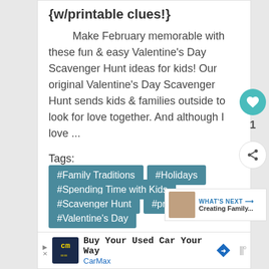{w/printable clues!}
Make February memorable with these fun & easy Valentine's Day Scavenger Hunt ideas for kids! Our original Valentine's Day Scavenger Hunt sends kids & families outside to look for love together. And although I love ...
Tags:
#Family Traditions
#Holidays
#Spending Time with Kids
#Scavenger Hunt
#printables
#Valentine's Day
1
WHAT'S NEXT → Creating Family...
Buy Your Used Car Your Way CarMax